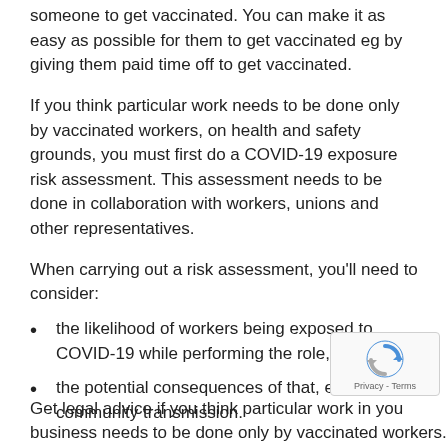someone to get vaccinated. You can make it as easy as possible for them to get vaccinated eg by giving them paid time off to get vaccinated.
If you think particular work needs to be done only by vaccinated workers, on health and safety grounds, you must first do a COVID-19 exposure risk assessment. This assessment needs to be done in collaboration with workers, unions and other representatives.
When carrying out a risk assessment, you'll need to consider:
the likelihood of workers being exposed to COVID-19 while performing the role, and
the potential consequences of that, eg community transmission.
Get legal advice if you think particular work in your business needs to be done only by vaccinated workers.